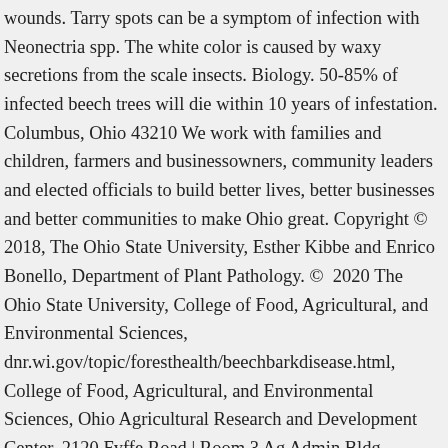wounds. Tarry spots can be a symptom of infection with Neonectria spp. The white color is caused by waxy secretions from the scale insects. Biology. 50-85% of infected beech trees will die within 10 years of infestation. Columbus, Ohio 43210 We work with families and children, farmers and businessowners, community leaders and elected officials to build better lives, better businesses and better communities to make Ohio great. Copyright © 2018, The Ohio State University, Esther Kibbe and Enrico Bonello, Department of Plant Pathology. © 2020 The Ohio State University, College of Food, Agricultural, and Environmental Sciences, dnr.wi.gov/topic/foresthealth/beechbarkdisease.html, College of Food, Agricultural, and Environmental Sciences, Ohio Agricultural Research and Development Center, 2120 Fyffe Road | Room 3 Ag Admin Bldg. Neonectria ditissima infects other species associated with beech, including Acer saccharum (sugar maple), A. rubra (red maple), and Betula alleghaniensis (yellow birch) . Neonectria ditissima and N. faginata produce ascospores in the late summer or autumn. BBD is well established in areas where